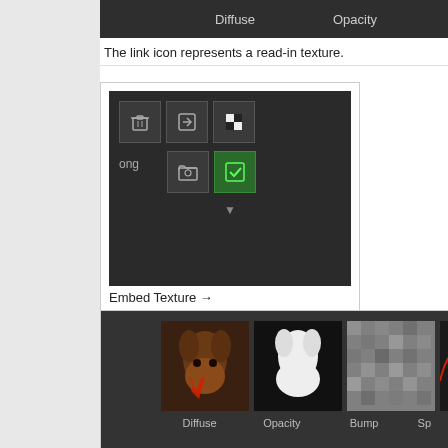[Figure (screenshot): Partial view of texture map panel showing Diffuse, Opacity, Bump, Spe columns in dark UI]
The link icon represents a read-in texture.
[Figure (screenshot): Embed Texture dialog showing icons for delete, embed, checkered pattern, folder open, and green embed button with dropdown arrow. Caption: Embed Texture →]
[Figure (screenshot): Texture panel showing four texture thumbnails: Diffuse (brown yoda), Opacity (white yoda silhouette), Bump (gray noisy), Spec (partially visible). Caption: The maps are now embedded in the project.]
Skin Weights
Copy Skin Weights
For the best results, copy the skin